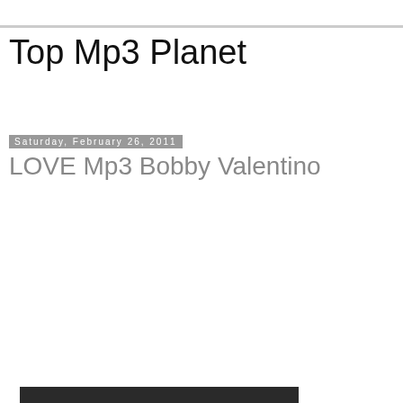Top Mp3 Planet
Saturday, February 26, 2011
LOVE Mp3 Bobby Valentino
[Figure (screenshot): Embedded YouTube video player showing error: 'Video unavailable. This video is no longer available because the YouTube account associated with this video has been terminated.']